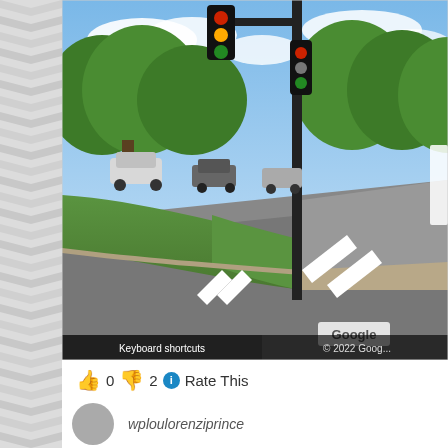[Figure (photo): Google Street View image of an intersection with a traffic light pole, trees, green grass, road with white chevron arrows painted on pavement. 'Google' watermark and 'Keyboard shortcuts | © 2022 Goog...' visible. 'NE 13th Ave' street label on right side.]
👍 0 👎 2 ℹ Rate This
wploulorenziprince